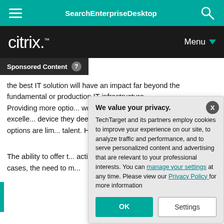SearchEnterpriseDesktop
[Figure (logo): Citrix logo on black bar with Menu dropdown]
Sponsored Content
the best IT solution will have an impact far beyond the fundamental or production IT infrastructure. Providing more optio... workers" is critical. T... devices is an excelle... device they deem "be... will make job and ca... these options are lim... talent. However, sup... overload IT, and cont...
We value your privacy. TechTarget and its partners employ cookies to improve your experience on our site, to analyze traffic and performance, and to serve personalized content and advertising that are relevant to your professional interests. You can manage your settings at any time. Please view our Privacy Policy for more information
The ability to offer t... activities is essentia... most employees, n... cases, the need to m...